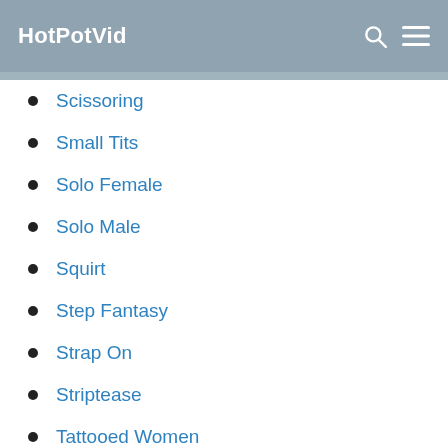HotPotVid
Scissoring
Small Tits
Solo Female
Solo Male
Squirt
Step Fantasy
Strap On
Striptease
Tattooed Women
Tease and denial
English